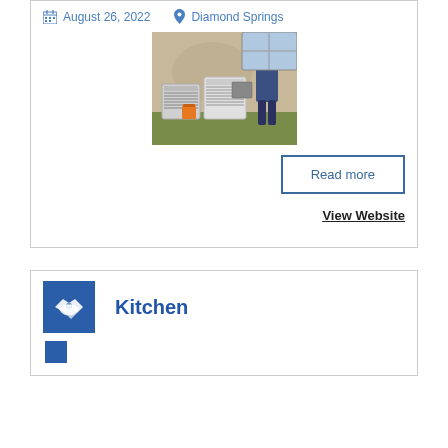August 26, 2022
Diamond Springs
[Figure (photo): Outdoor HVAC unit installation with worker standing nearby and orange bucket on ground]
Read more
View Website
Kitchen
[Figure (illustration): Blue square icon]